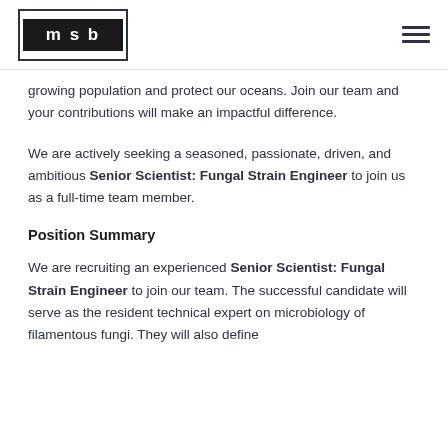MSB logo and navigation hamburger menu
growing population and protect our oceans. Join our team and your contributions will make an impactful difference.
We are actively seeking a seasoned, passionate, driven, and ambitious Senior Scientist: Fungal Strain Engineer to join us as a full-time team member.
Position Summary
We are recruiting an experienced Senior Scientist: Fungal Strain Engineer to join our team. The successful candidate will serve as the resident technical expert on microbiology of filamentous fungi. They will also define